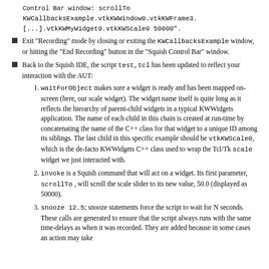Control Bar window: scrollTo KWCallbacksExample.vtkKWWindow0.vtkKWFrame3.[...].vtkKWMyWidget0.vtkKWScale0 50000".
Exit "Recording" mode by closing or exiting the KWCallbacksExample window, or hitting the "End Recording" button in the "Squish Control Bar" window.
Back to the Squish IDE, the script test,tcl has been updated to reflect your interaction with the AUT:
1. waitForObject makes sure a widget is ready and has been mapped on-screen (here, our scale widget). The widget name itself is quite long as it reflects the hierarchy of parent-child widgets in a typical KWWidgets application. The name of each child in this chain is created at run-time by concatenating the name of the C++ class for that widget to a unique ID among its siblings. The last child in this specific example should be vtkKWScale0, which is the de-facto KWWidgets C++ class used to wrap the Tcl/Tk scale widget we just interacted with.
2. invoke is a Squish command that will act on a widget. Its first parameter, scrollTo , will scroll the scale slider to its new value, 50.0 (displayed as 50000).
3. snooze 12.5; snooze statements force the script to wait for N seconds. These calls are generated to ensure that the script always runs with the same time-delays as when it was recorded. They are added because in some cases an action may take